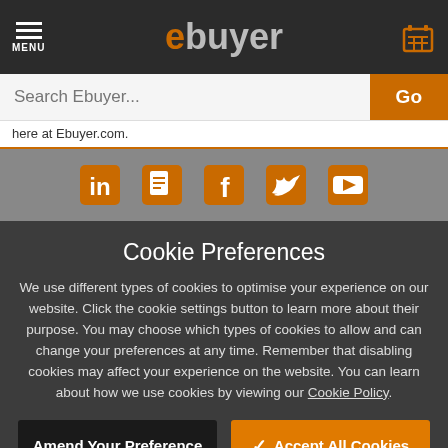ebuyer — MENU | Search Ebuyer... | Go
here at Ebuyer.com.
[Figure (infographic): Social media icons row: LinkedIn, Google+, Facebook, Twitter, YouTube — all in orange on grey background]
Cookie Preferences
We use different types of cookies to optimise your experience on our website. Click the cookie settings button to learn more about their purpose. You may choose which types of cookies to allow and can change your preferences at any time. Remember that disabling cookies may affect your experience on the website. You can learn about how we use cookies by viewing our Cookie Policy.
Amend Your Preference | Accept All Cookies